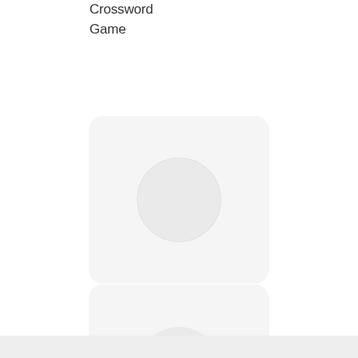Crossword Game
[Figure (illustration): App icon placeholder card for Jigsaw Puzzles - Puzzle Games, light gray rounded rectangle with a gray circle]
Jigsaw Puzzles - Puzzle Games
[Figure (illustration): App icon placeholder card for Blockudoku: Block Puzzle Game, light gray rounded rectangle with a gray circle]
Blockudoku: Block Puzzle Game